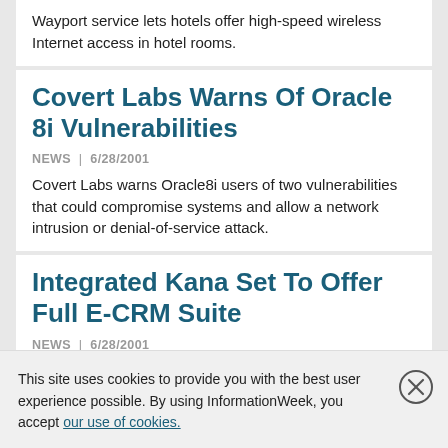Wayport service lets hotels offer high-speed wireless Internet access in hotel rooms.
Covert Labs Warns Of Oracle 8i Vulnerabilities
NEWS | 6/28/2001
Covert Labs warns Oracle8i users of two vulnerabilities that could compromise systems and allow a network intrusion or denial-of-service attack.
Integrated Kana Set To Offer Full E-CRM Suite
NEWS | 6/28/2001
Merger with Broadbase adds business
This site uses cookies to provide you with the best user experience possible. By using InformationWeek, you accept our use of cookies.